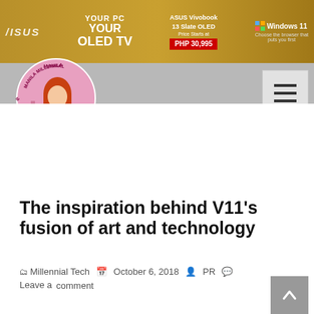[Figure (screenshot): ASUS advertisement banner with yellow/gold background showing 'YOUR PC YOUR OLED TV' text, ASUS Vivobook 13 Slate OLED product and Windows 11 logo]
[Figure (logo): Manila Millennial circular logo with illustrated red-haired woman holding a smartphone against a pink background, with city skyline elements]
[Figure (other): Hamburger menu button (three horizontal bars) on gray background]
The inspiration behind V11’s fusion of art and technology
Millennial Tech  •  October 6, 2018  •  PR  •  Leave a comment
[Figure (other): Scroll to top arrow button, gray background with white upward chevron]